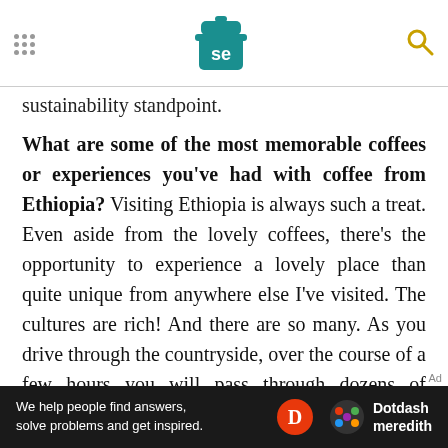Serious Eats header with logo and search icon
sustainability standpoint.
What are some of the most memorable coffees or experiences you've had with coffee from Ethiopia? Visiting Ethiopia is always such a treat. Even aside from the lovely coffees, there's the opportunity to experience a lovely place than quite unique from anywhere else I've visited. The cultures are rich! And there are so many. As you drive through the countryside, over the course of a few hours you will pass through dozens of districts. About every few kilometers you see a culture shift: the homes take on a different style, the native
Ad — We help people find answers, solve problems and get inspired. Dotdash meredith